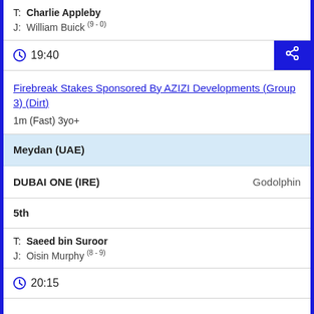T: Charlie Appleby
J: William Buick (9-0)
19:40
Firebreak Stakes Sponsored By AZIZI Developments (Group 3) (Dirt)
1m (Fast) 3yo+
Meydan (UAE)
DUBAI ONE (IRE)    Godolphin
5th
T: Saeed bin Suroor
J: Oisin Murphy (8-9)
20:15